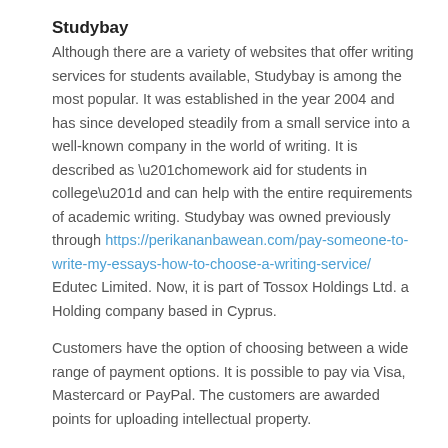Studybay
Although there are a variety of websites that offer writing services for students available, Studybay is among the most popular. It was established in the year 2004 and has since developed steadily from a small service into a well-known company in the world of writing. It is described as “homework aid for students in college” and can help with the entire requirements of academic writing. Studybay was owned previously through https://perikananbawean.com/pay-someone-to-write-my-essays-how-to-choose-a-writing-service/ Edutec Limited. Now, it is part of Tossox Holdings Ltd. a Holding company based in Cyprus.
Customers have the option of choosing between a wide range of payment options. It is possible to pay via Visa, Mastercard or PayPal. The customers are awarded points for uploading intellectual property.